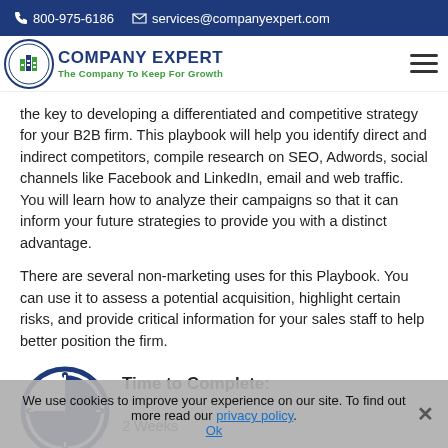800-975-6186  services@companyexpert.com
[Figure (logo): Company Expert logo with green building icon and tagline 'The Company To Keep For Growth']
the key to developing a differentiated and competitive strategy for your B2B firm. This playbook will help you identify direct and indirect competitors, compile research on SEO, Adwords, social channels like Facebook and LinkedIn, email and web traffic. You will learn how to analyze their campaigns so that it can inform your future strategies to provide you with a distinct advantage.
There are several non-marketing uses for this Playbook. You can use it to assess a potential acquisition, highlight certain risks, and provide critical information for your sales staff to help better position the firm.
[Figure (illustration): Clock/timer circle icon in blue with a pie-slice shape indicating time]
Time to Complete:
2 Weeks
We use cookies to improve your experience on our site. To find out more read our privacy policy. Ok